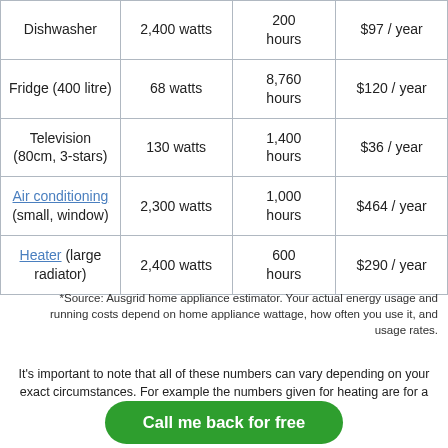| Dishwasher | 2,400 watts | 200 hours | $97 / year |
| Fridge (400 litre) | 68 watts | 8,760 hours | $120 / year |
| Television (80cm, 3-stars) | 130 watts | 1,400 hours | $36 / year |
| Air conditioning (small, window) | 2,300 watts | 1,000 hours | $464 / year |
| Heater (large radiator) | 2,400 watts | 600 hours | $290 / year |
*Source: Ausgrid home appliance estimator. Your actual energy usage and running costs depend on home appliance wattage, how often you use it, and usage rates.
It's important to note that all of these numbers can vary depending on your exact circumstances. For example the numbers given for heating are for a